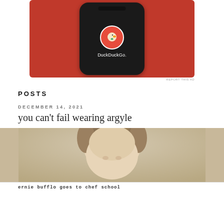[Figure (photo): DuckDuckGo advertisement showing a smartphone with the DuckDuckGo app icon and logo on a red/orange background]
REPORT THIS AD
POSTS
DECEMBER 14, 2021
you can't fail wearing argyle
[Figure (photo): Close-up photo of a person's head/face from slightly above, showing hair and forehead against a beige/tan background]
ernie bufflo goes to chef school